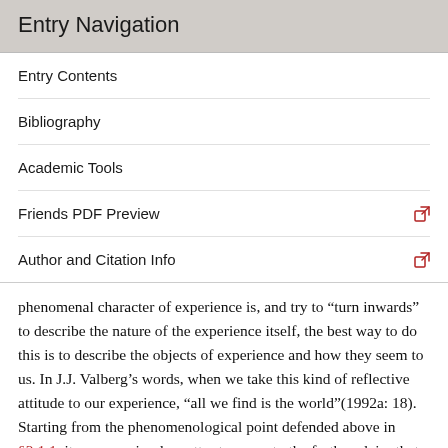Entry Navigation
Entry Contents
Bibliography
Academic Tools
Friends PDF Preview
Author and Citation Info
phenomenal character of experience is, and try to “turn inwards” to describe the nature of the experience itself, the best way to do this is to describe the objects of experience and how they seem to us. In J.J. Valberg’s words, when we take this kind of reflective attitude to our experience, “all we find is the world”(1992a: 18). Starting from the phenomenological point defended above in §2.1.1, it seems a simple matter to move to the further claim that the way these objects actually are is part of what determines the phenomenal character of an experience.